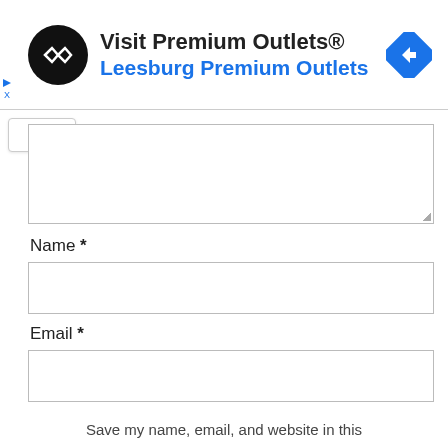[Figure (other): Advertisement banner for Visit Premium Outlets® / Leesburg Premium Outlets with circular logo and navigation icon]
Name *
Email *
Save my name, email, and website in this